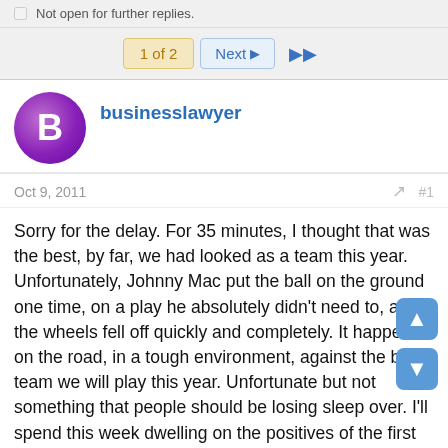Not open for further replies.
1 of 2  Next  ▶▶
businesslawyer
Oct 9, 2011
#1
Sorry for the delay. For 35 minutes, I thought that was the best, by far, we had looked as a team this year. Unfortunately, Johnny Mac put the ball on the ground one time, on a play he absolutely didn't need to, and the wheels fell off quickly and completely. It happened on the road, in a tough environment, against the best team we will play this year. Unfortunate but not something that people should be losing sleep over. I'll spend this week dwelling on the positives of the first 35 minutes and hope that we can play 60 of those minutes Saturday at home. Because if we do, maybe this will be the week we break through.

On offense, I thought Mac played very well for 35 minutes. Made some good throws. Moved inside and outside the pocket